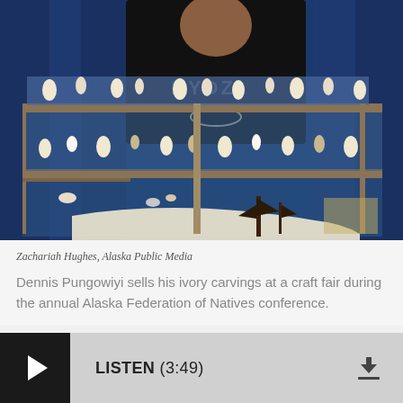[Figure (photo): A man in a black hoodie stands behind a display booth showing ivory carvings — animal figurines, sculptures, and craft items arranged on shelves with blue fabric lining. A model sailing ship is visible in the foreground.]
Zachariah Hughes, Alaska Public Media
Dennis Pungowiyi sells his ivory carvings at a craft fair during the annual Alaska Federation of Natives conference.
LISTEN (3:49)